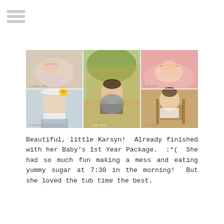[Figure (logo): Hamburger menu icon with three horizontal gray bars]
[Figure (photo): Photo collage of baby girl Karsyn at different ages: newborn sleeping, 6 months on pink fur, 6 months smiling portrait with yellow flower, one year sitting outside in floral romper, 9 months sitting in chair]
Beautiful, little Karsyn!  Already finished with her Baby's 1st Year Package.  :*(  She had so much fun making a mess and eating yummy sugar at 7:30 in the morning!  But she loved the tub time the best.